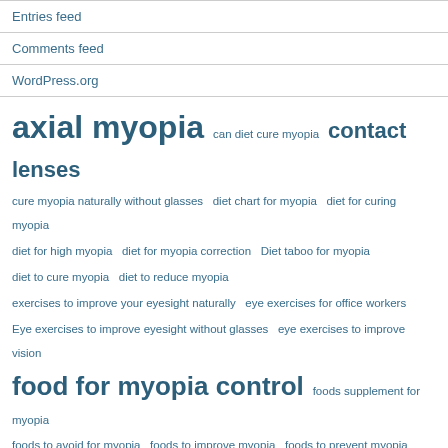Entries feed
Comments feed
WordPress.org
axial myopia  can diet cure myopia  contact lenses  cure myopia naturally without glasses  diet chart for myopia  diet for curing myopia  diet for high myopia  diet for myopia correction  Diet taboo for myopia  diet to cure myopia  diet to reduce myopia  exercises to improve your eyesight naturally  eye exercises for office workers  Eye exercises to improve eyesight without glasses  eye exercises to improve vision  food for myopia control  foods supplement for myopia  foods to avoid for myopia  foods to improve myopia  foods to prevent myopia  guide for myopia control diet  history of myopia glasses  How can myopia be corrected  If you have bad eyesight can it improve  Improve your vision in 7 days  law of attraction  most powerful eye exercises to restore a clear vision  myopia caused by diet  myopia cause glaucoma  myopia cause retinal detachment  myopia cure with diet